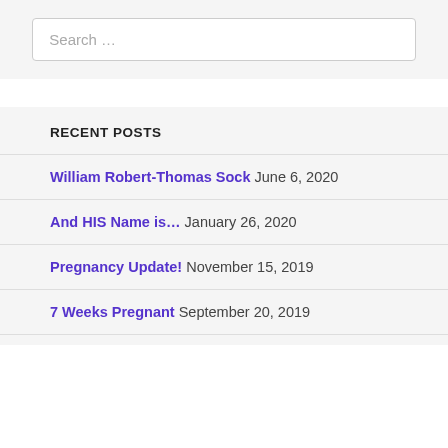Search …
RECENT POSTS
William Robert-Thomas Sock June 6, 2020
And HIS Name is… January 26, 2020
Pregnancy Update! November 15, 2019
7 Weeks Pregnant September 20, 2019